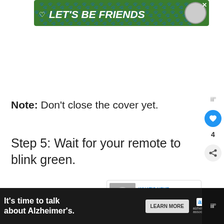[Figure (screenshot): Green advertisement banner reading LET'S BE FRIENDS with a dog image and heart icon]
Note: Don't close the cover yet.
Step 5: Wait for your remote to blink green.
Step 6: Plug your Roku back into its power...
[Figure (screenshot): WHAT'S NEXT thumbnail widget: 7 Steps To Reset Your...]
[Figure (screenshot): Bottom advertisement banner: It's time to talk about Alzheimer's. with LEARN MORE button and Alzheimer's Association logo]